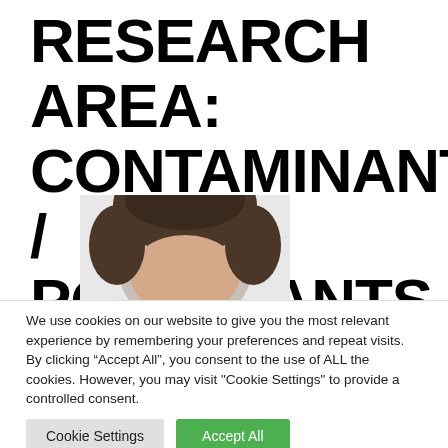RESEARCH AREA: CONTAMINANTS / POLLUTANTS
[Figure (photo): Partial photo of a person's head (top of head with dark hair visible), cut off at the bottom of the white content area above the cookie banner overlay.]
We use cookies on our website to give you the most relevant experience by remembering your preferences and repeat visits. By clicking “Accept All”, you consent to the use of ALL the cookies. However, you may visit "Cookie Settings" to provide a controlled consent.